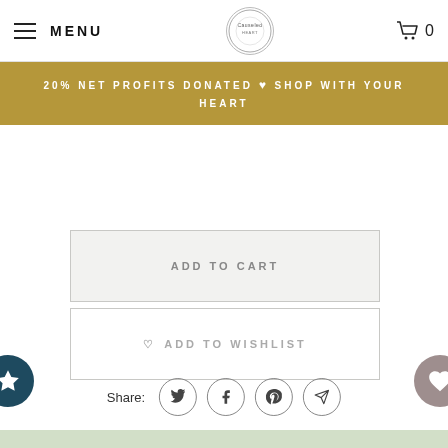MENU | Causeled [logo] | 0
20% NET PROFITS DONATED ♥ SHOP WITH YOUR HEART
ADD TO CART
♡ ADD TO WISHLIST
Share: